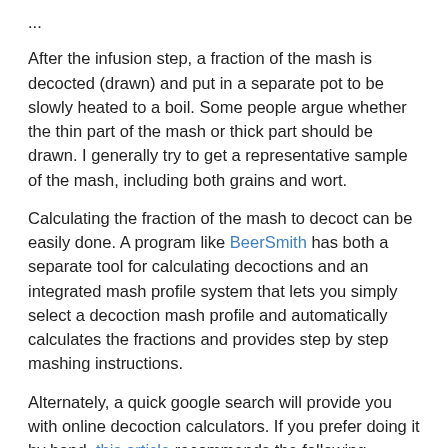After the infusion step, a fraction of the mash is decocted (drawn) and put in a separate pot to be slowly heated to a boil. Some people argue whether the thin part of the mash or thick part should be drawn. I generally try to get a representative sample of the mash, including both grains and wort.
Calculating the fraction of the mash to decoct can be easily done. A program like BeerSmith has both a separate tool for calculating decoctions and an integrated mash profile system that lets you simply select a decoction mash profile and automatically calculates the fractions and provides step by step mashing instructions.
Alternately, a quick google search will provide you with online decoction calculators. If you prefer doing it by hand, this article recommends the following fraction: